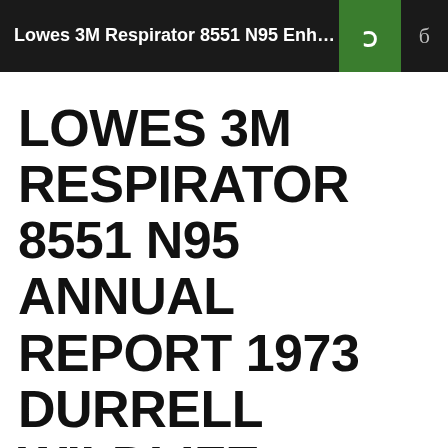Lowes 3M Respirator 8551 N95 Enha...
LOWES 3M RESPIRATOR 8551 N95 ANNUAL REPORT 1973 DURRELL WILDLIFE CONSERVATION TRUST
CHARACTER MASKS THE FACE SHOP KAKAO TALK • 2020-4-5 18:26:54 • CHARACTER MASKS THE FACE SHOP KAKAO TALK•